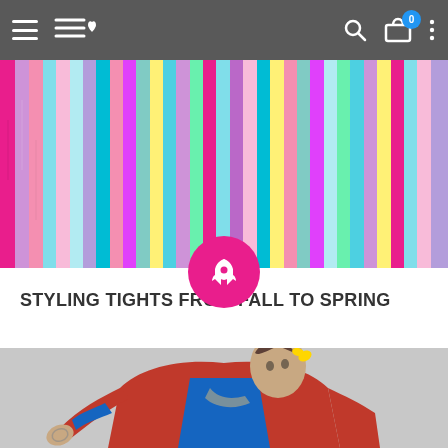Navigation bar with hamburger menu, logo (heart with lines), search icon, cart (0), and more options
[Figure (photo): Colorful vertical painted wooden planks/stripes in various pastel and bright colors including pink, teal, purple, green, yellow, blue]
[Figure (illustration): Pink circle button with white rocket/launch icon]
STYLING TIGHTS FROM FALL TO SPRING
[Figure (photo): Fashion photo of a young person wearing an orange/red oversized jacket over a blue top, with spiky hair decorated with yellow bows, posing on a gray background]